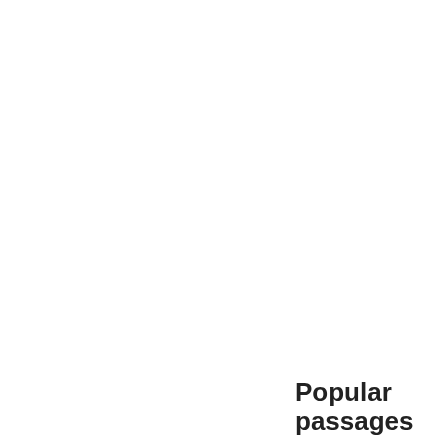[Figure (infographic): Word cloud of terms related to religion and Unitarianism, rendered in blue, with size indicating frequency/importance. Terms include: persons, possess, present, principles, prove, published, question, readers, reason, received, regard, religion, religious, remarks, respect, Scriptures, sense, sentiments, short, Society, speak, spirit, stand, sure, thing, thought, tion, trinity, true, truth, understanding, Unit, Unitarian, views, worship, writer]
Popular passages